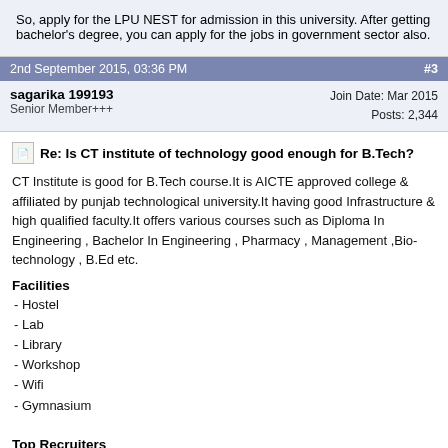So, apply for the LPU NEST for admission in this university. After getting bachelor’s degree, you can apply for the jobs in government sector also.
2nd September 2015, 03:36 PM  #3
sagarika 199193
Senior Member+++
Join Date: Mar 2015
Posts: 2,344
Re: Is CT institute of technology good enough for B.Tech?
CT Institute is good for B.Tech course.It is AICTE approved college & affiliated by punjab technological university.It having good Infrastructure & high qualified faculty.It offers various courses such as Diploma In Engineering , Bachelor In Engineering , Pharmacy , Management ,Bio-technology , B.Ed etc.
Facilities
- Hostel
- Lab
- Library
- Workshop
- Wifi
- Gymnasium
Top Recruiters
In CT campus , Many companies comes for placement.You may have chance to be hired by these recruiters.
□Honda